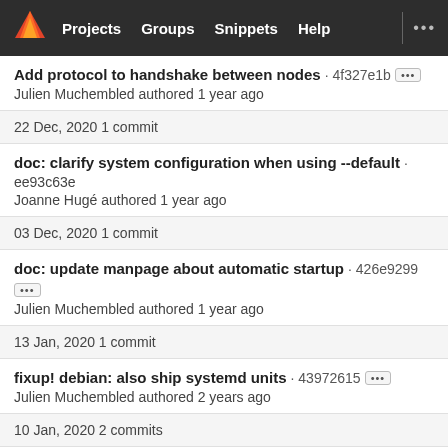Projects  Groups  Snippets  Help  ...
Add protocol to handshake between nodes · 4f327e1b ...
Julien Muchembled authored 1 year ago
22 Dec, 2020 1 commit
doc: clarify system configuration when using --default · ee93c63e
Joanne Hugé authored 1 year ago
03 Dec, 2020 1 commit
doc: update manpage about automatic startup · 426e9299 ...
Julien Muchembled authored 1 year ago
13 Jan, 2020 1 commit
fixup! debian: also ship systemd units · 43972615 ...
Julien Muchembled authored 2 years ago
10 Jan, 2020 2 commits